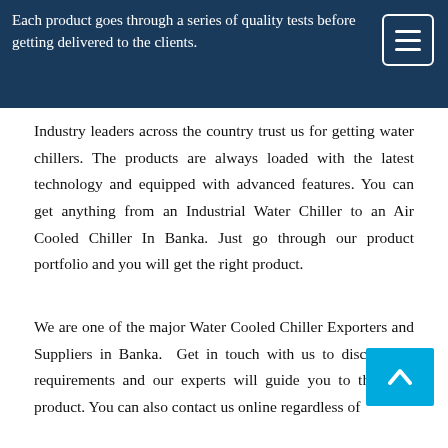Each product goes through a series of quality tests before getting delivered to the clients.
Industry leaders across the country trust us for getting water chillers. The products are always loaded with the latest technology and equipped with advanced features. You can get anything from an Industrial Water Chiller to an Air Cooled Chiller In Banka. Just go through our product portfolio and you will get the right product.
We are one of the major Water Cooled Chiller Exporters and Suppliers in Banka. Get in touch with us to discuss your requirements and our experts will guide you to the right product. You can also contact us online regardless of